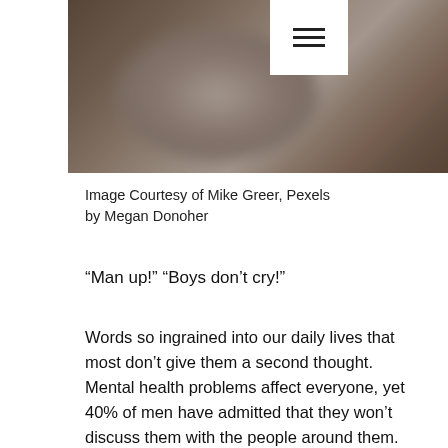[Figure (photo): Blurred close-up photo of a person lying down, appears to show their head and upper body against a dark background]
Image Courtesy of Mike Greer, Pexels
by Megan Donoher
“Man up!” “Boys don’t cry!”
Words so ingrained into our daily lives that most don’t give them a second thought. Mental health problems affect everyone, yet 40% of men have admitted that they won’t discuss them with the people around them. Why is that, you ask? It’s complicated, but